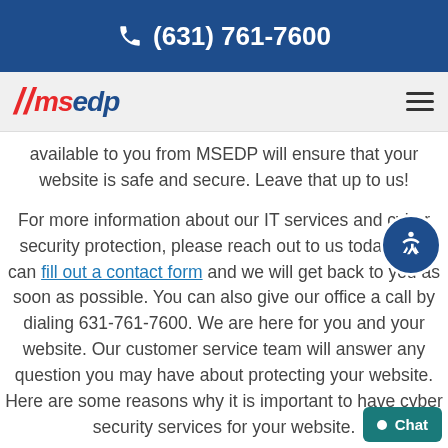(631) 761-7600
[Figure (logo): MSEDP company logo with red slashes and blue text]
available to you from MSEDP will ensure that your website is safe and secure. Leave that up to us!
For more information about our IT services and cyber security protection, please reach out to us today. You can fill out a contact form and we will get back to you as soon as possible. You can also give our office a call by dialing 631-761-7600. We are here for you and your website. Our customer service team will answer any question you may have about protecting your website. Here are some reasons why it is important to have cyber security services for your website.